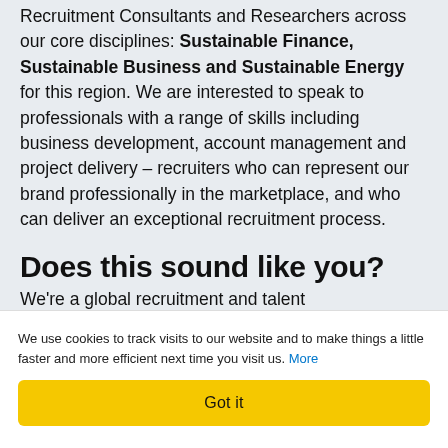Recruitment Consultants and Researchers across our core disciplines: Sustainable Finance, Sustainable Business and Sustainable Energy for this region. We are interested to speak to professionals with a range of skills including business development, account management and project delivery – recruiters who can represent our brand professionally in the marketplace, and who can deliver an exceptional recruitment process.
Does this sound like you?
We're a global recruitment and talent
We use cookies to track visits to our website and to make things a little faster and more efficient next time you visit us. More
Got it